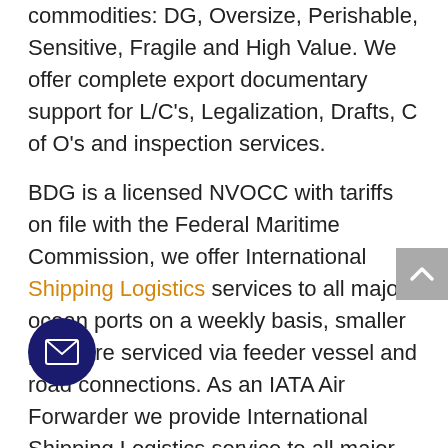commodities: DG, Oversize, Perishable, Sensitive, Fragile and High Value. We offer complete export documentary support for L/C's, Legalization, Drafts, C of O's and inspection services.
BDG is a licensed NVOCC with tariffs on file with the Federal Maritime Commission, we offer International Shipping Logistics services to all major ocean ports on a weekly basis, smaller ports are serviced via feeder vessel and road connections. As an IATA Air Forwarder we provide International Shipping Logistics service to all major airports throughout the world. BDG is fully licensed with the TSA to offer International Shipping Logistics services on passenger flights and has a certified C-TPAT security program.